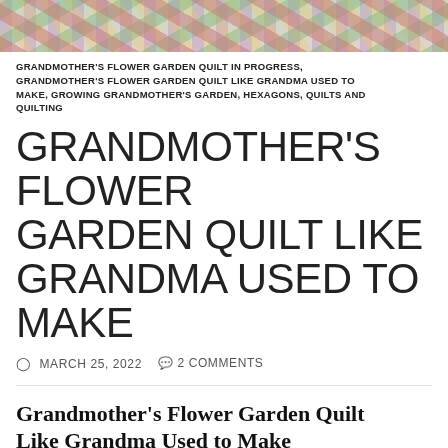[Figure (photo): Colorful quilt fabric pieces arranged together, showing a Grandmother's Flower Garden quilt in progress]
GRANDMOTHER'S FLOWER GARDEN QUILT IN PROGRESS, GRANDMOTHER'S FLOWER GARDEN QUILT LIKE GRANDMA USED TO MAKE, GROWING GRANDMOTHER'S GARDEN, HEXAGONS, QUILTS AND QUILTING
GRANDMOTHER'S FLOWER GARDEN QUILT LIKE GRANDMA USED TO MAKE
MARCH 25, 2022  2 COMMENTS
Grandmother's Flower Garden Quilt Like Grandma Used to Make
Hello Dear Friends and Readers, today I will share my journey and the instructions for making a simple Grandmother's Flower Garden Quilt Like Grandma Used to Make. I have been at this project for years, and although that may seem like a